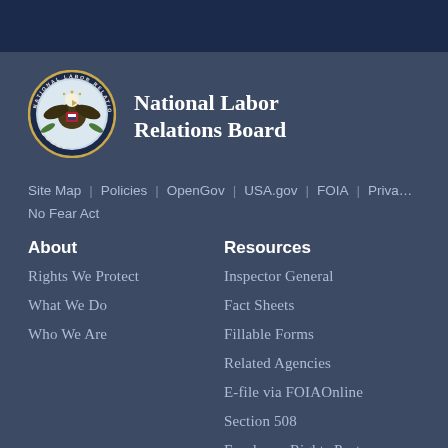[Figure (logo): National Labor Relations Board seal/logo circular emblem]
National Labor Relations Board
Site Map | Policies | OpenGov | USA.gov | FOIA | Privacy | No Fear Act
About
Rights We Protect
What We Do
Who We Are
Resources
Inspector General
Fact Sheets
Fillable Forms
Related Agencies
E-file via FOIAOnline
Section 508
Employee Rights Poster
Other